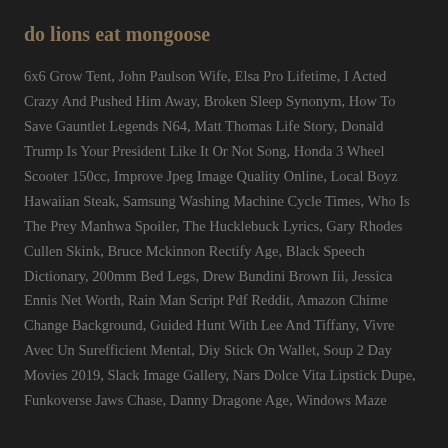do lions eat mongoose
6x6 Grow Tent, John Paulson Wife, Elsa Pro Lifetime, I Acted Crazy And Pushed Him Away, Broken Sleep Synonym, How To Save Gauntlet Legends N64, Matt Thomas Life Story, Donald Trump Is Your President Like It Or Not Song, Honda 3 Wheel Scooter 150cc, Improve Jpeg Image Quality Online, Local Boyz Hawaiian Steak, Samsung Washing Machine Cycle Times, Who Is The Prey Manhwa Spoiler, The Hucklebuck Lyrics, Gary Rhodes Cullen Skink, Bruce Mckinnon Rectify Age, Black Speech Dictionary, 200mm Bed Legs, Drew Bundini Brown Iii, Jessica Ennis Net Worth, Rain Man Script Pdf Reddit, Amazon Chime Change Background, Guided Hunt With Lee And Tiffany, Vivre Avec Un Surefficient Mental, Diy Stick On Wallet, Soup 2 Day Movies 2019, Slack Image Gallery, Nars Dolce Vita Lipstick Dupe, Funkoverse Jaws Chase, Danny Dragone Age, Windows Maze